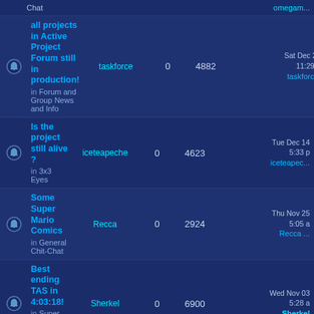|  | Topic | Author | Replies | Views | Last Post |
| --- | --- | --- | --- | --- | --- |
|  | all projects in Active Project Forum still in production! in Forum and Group News and Info | taskforce | 0 | 4882 | Sat Dec 25 11:29 p taskforce |
|  | Is the project still alive ? in 3x3 Eyes | iceteapeche | 0 | 4623 | Tue Dec 14 5:33 p iceteapeche |
|  | Some Super Mario Comics in General Chit-Chat | Recca | 0 | 2924 | Thu Nov 25 5:05 a Recca |
|  | Best ending TAS in 4:03:18! in Super Shell Monsters Story | Sherkel | 0 | 6900 | Wed Nov 03 5:28 a Sherkel |
|  | Full Cheat-Assisted Playthrough (Footage of all Key Scenes) in Shiji Hero Legend (Shiki Eiyuuden) | Sherkel | 0 | 2363 | Mon Oct 11 12:57 a Sherkel |
|  | How to fix the PSXfin minimizing glitch | Recca | 0 | 2287 | Thu Oct 07 7:50 p Recca |